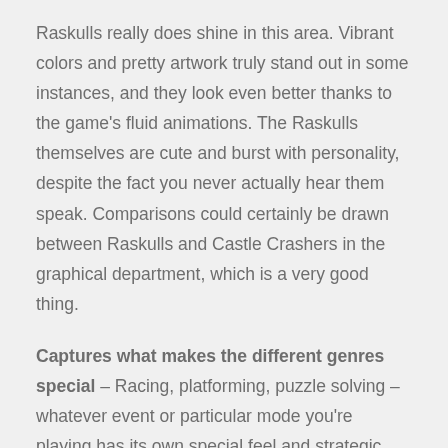Raskulls really does shine in this area. Vibrant colors and pretty artwork truly stand out in some instances, and they look even better thanks to the game's fluid animations. The Raskulls themselves are cute and burst with personality, despite the fact you never actually hear them speak. Comparisons could certainly be drawn between Raskulls and Castle Crashers in the graphical department, which is a very good thing.
Captures what makes the different genres special – Racing, platforming, puzzle solving – whatever event or particular mode you're playing has its own special feel and strategic approach. Raskulls succeeds at being fun in all of these areas, and while it may start off slow or too easy for some, picks up in difficulty and challenge as